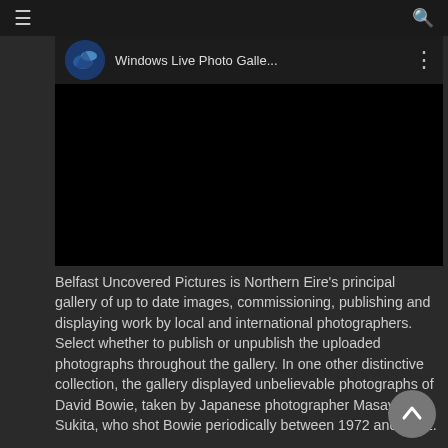Windows Live Photo Galle...
[Figure (screenshot): A dark video player embed showing a circular thumbnail on the left, the title 'Windows Live Photo Galle...' in the center, and a three-dot menu icon on the right. The video content area is completely black.]
Belfast Uncovered Pictures is Northern Eire's principal gallery of up to date images, commissioning, publishing and displaying work by local and international photographers. Select whether to publish or unpublish the uploaded photographs throughout the gallery. In one other distinctive collection, the gallery displayed unbelievable photographs of David Bowie, taken by Japanese photographer Masayoshi Sukita, who shot Bowie periodically between 1972 and 2002.